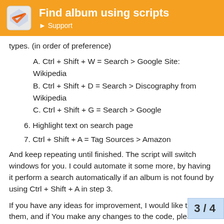Find album using scripts | Support
types. (in order of preference)
A. Ctrl + Shift + W = Search > Google Site: Wikipedia
B. Ctrl + Shift + D = Search > Discography from Wikipedia
C. Ctrl + Shift + G = Search > Google
6. Highlight text on search page
7. Ctrl + Shift + A = Tag Sources > Amazon
And keep repeating until finished. The script will switch windows for you. I could automate it some more, by having it perform a search automatically if an album is not found by using Ctrl + Shift + A in step 3.
If you have any ideas for improvement, I would like to hear them, and if You make any changes to the code, please share.
Ok the upload failed. Says I can't upload a 7z file, but I'll send it, If I have to I'll post a link.
http://www.mediafire.com/3mz1dlottkji
3 / 4